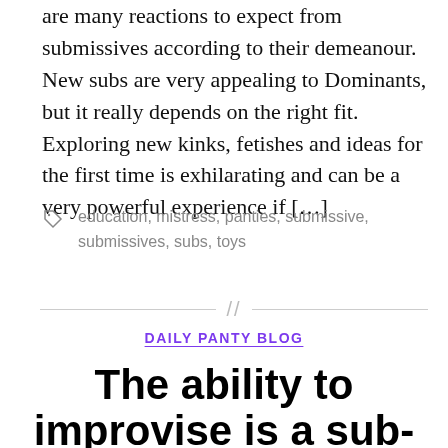are many reactions to expect from submissives according to their demeanour. New subs are very appealing to Dominants, but it really depends on the right fit. Exploring new kinks, fetishes and ideas for the first time is exhilarating and can be a very powerful experience if […]
education, mistress, panties, submissive, submissives, subs, toys
DAILY PANTY BLOG
The ability to improvise is a sub-surprise